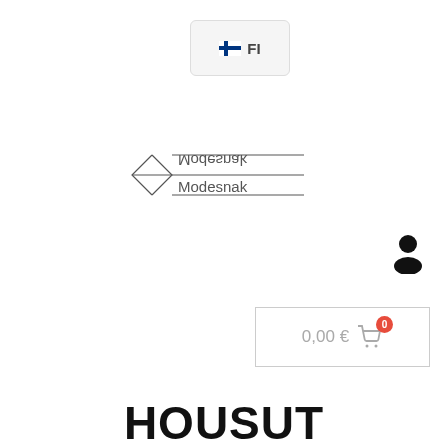[Figure (screenshot): Finnish flag button with flag icon and 'FI' text in a rounded rectangle button]
[Figure (logo): Modesnak logo with geometric diamond/arrow shapes and mirrored text 'Modesnak' in top half and normal text below]
[Figure (infographic): User/person silhouette icon in black]
[Figure (screenshot): Shopping cart button showing '0,00 €' with cart icon and red badge showing '0']
HOUSUT